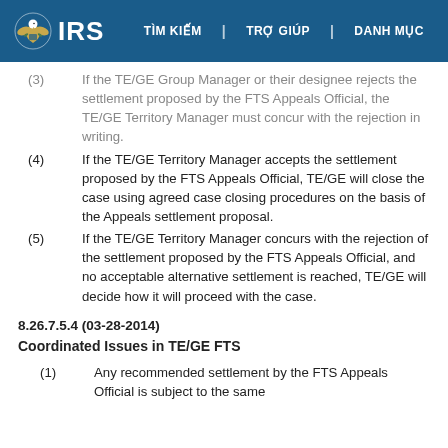IRS | TÌM KIẾM | TRỢ GIÚP | DANH MỤC
(3) If the TE/GE Group Manager or their designee rejects the settlement proposed by the FTS Appeals Official, the TE/GE Territory Manager must concur with the rejection in writing.
(4) If the TE/GE Territory Manager accepts the settlement proposed by the FTS Appeals Official, TE/GE will close the case using agreed case closing procedures on the basis of the Appeals settlement proposal.
(5) If the TE/GE Territory Manager concurs with the rejection of the settlement proposed by the FTS Appeals Official, and no acceptable alternative settlement is reached, TE/GE will decide how it will proceed with the case.
8.26.7.5.4 (03-28-2014)
Coordinated Issues in TE/GE FTS
(1) Any recommended settlement by the FTS Appeals Official is subject to the same